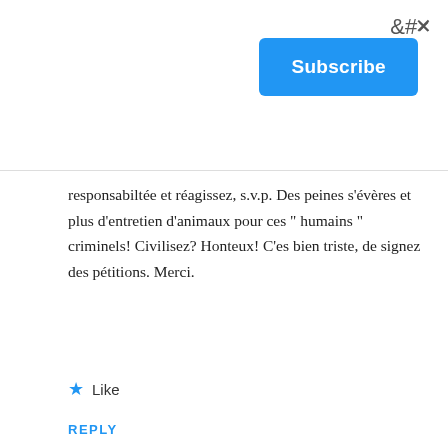×
Subscribe
responsabiltée et réagissez, s.v.p. Des peines s'évères et plus d'entretien d'animaux pour ces " humains " criminels! Civilisez? Honteux! C'es bien triste, de signez des pétitions. Merci.
★ Like
REPLY
[Figure (illustration): User avatar for Karen — quilt/mosaic pattern in purple and white]
Karen
JUNE 22, 2019 AT 8:57 AM